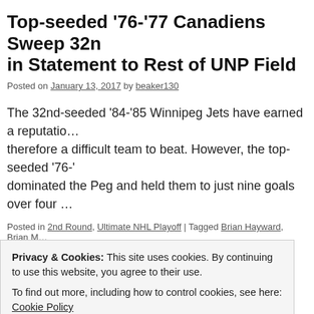Top-seeded '76-'77 Canadiens Sweep 32nd-seeded in Statement to Rest of UNP Field
Posted on January 13, 2017 by beaker130
The 32nd-seeded '84-'85 Winnipeg Jets have earned a reputation … therefore a difficult team to beat. However, the top-seeded '76-'77 … dominated the Peg and held them to just nine goals over four …
Posted in 2nd Round, Ultimate NHL Playoff | Tagged Brian Hayward, Brian M... Dave Ellett, Doug Smail, Guy Lafleur, Guy Lapointe, Jacques Lemaire, Ken D...
Privacy & Cookies: This site uses cookies. By continuing to use this website, you agree to their use.
To find out more, including how to control cookies, see here: Cookie Policy
Close and accept
Advertisements